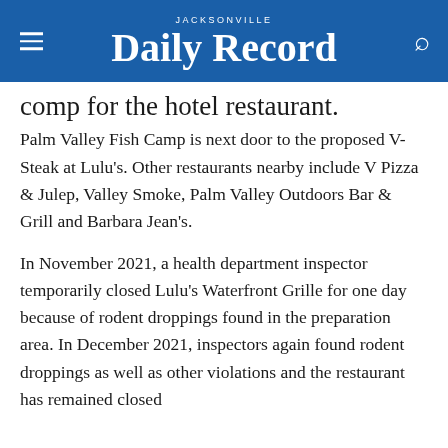JACKSONVILLE Daily Record
comp for the hotel restaurant.
Palm Valley Fish Camp is next door to the proposed V-Steak at Lulu's. Other restaurants nearby include V Pizza & Julep, Valley Smoke, Palm Valley Outdoors Bar & Grill and Barbara Jean's.
In November 2021, a health department inspector temporarily closed Lulu's Waterfront Grille for one day because of rodent droppings found in the preparation area. In December 2021, inspectors again found rodent droppings as well as other violations and the restaurant has remained closed